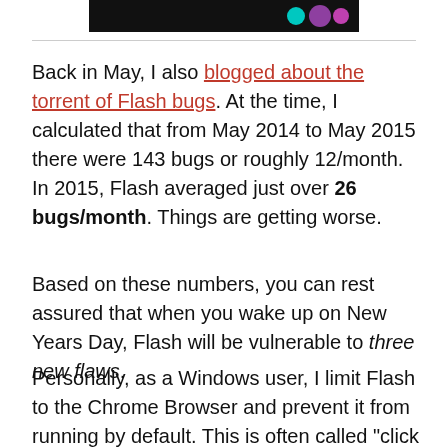[Figure (other): Dark banner with colored dots (teal, purple, magenta) on black background]
Back in May, I also blogged about the torrent of Flash bugs. At the time, I calculated that from May 2014 to May 2015 there were 143 bugs or roughly 12/month. In 2015, Flash averaged just over 26 bugs/month. Things are getting worse.
Based on these numbers, you can rest assured that when you wake up on New Years Day, Flash will be vulnerable to three new flaws.
Personally, as a Windows user, I limit Flash to the Chrome Browser and prevent it from running by default. This is often called "click to play" but its currently enabled by clicking the